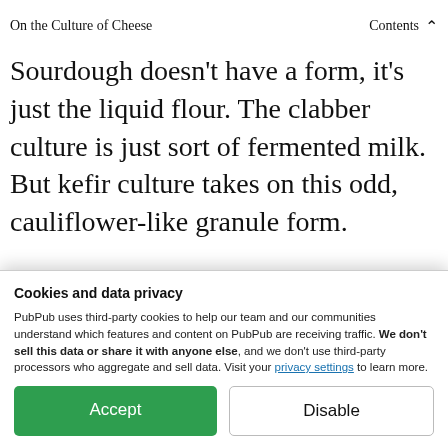On the Culture of Cheese   Contents ⌃
Sourdough doesn't have a form, it's just the liquid flour. The clabber culture is just sort of fermented milk. But kefir culture takes on this odd, cauliflower-like granule form.
[Figure (photo): A glass bowl containing white cauliflower-like kefir grains with a wooden spoon resting in the bowl]
Cookies and data privacy
PubPub uses third-party cookies to help our team and our communities understand which features and content on PubPub are receiving traffic. We don't sell this data or share it with anyone else, and we don't use third-party processors who aggregate and sell data. Visit your privacy settings to learn more.
So this is the culture that makes kefir.